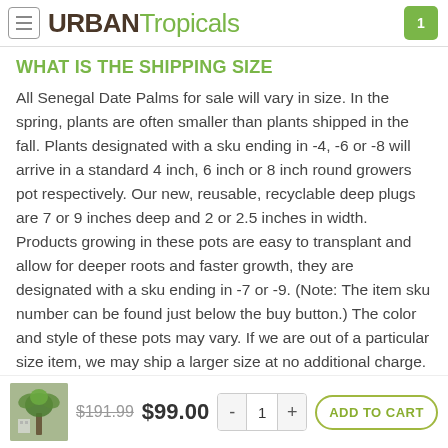URBAN Tropicals
WHAT IS THE SHIPPING SIZE
All Senegal Date Palms for sale will vary in size. In the spring, plants are often smaller than plants shipped in the fall. Plants designated with a sku ending in -4, -6 or -8 will arrive in a standard 4 inch, 6 inch or 8 inch round growers pot respectively. Our new, reusable, recyclable deep plugs are 7 or 9 inches deep and 2 or 2.5 inches in width. Products growing in these pots are easy to transplant and allow for deeper roots and faster growth, they are designated with a sku ending in -7 or -9. (Note: The item sku number can be found just below the buy button.) The color and style of these pots may vary. If we are out of a particular size item, we may ship a larger size at no additional charge. For more information, click the "best packaging" link at the bottom of
$191.99  $99.00  - 1 +  ADD TO CART